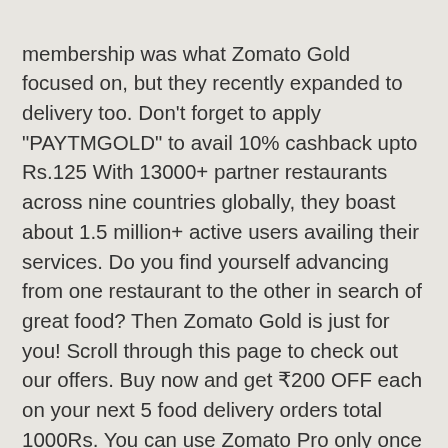membership was what Zomato Gold focused on, but they recently expanded to delivery too. Don't forget to apply "PAYTMGOLD" to avail 10% cashback upto Rs.125 With 13000+ partner restaurants across nine countries globally, they boast about 1.5 million+ active users availing their services. Do you find yourself advancing from one restaurant to the other in search of great food? Then Zomato Gold is just for you! Scroll through this page to check out our offers. Buy now and get ₹200 OFF each on your next 5 food delivery orders total 1000Rs. You can use Zomato Pro only once at each partner restaurant in a day. Pay using Mobikwik (New User) and get 300Rs super cash cashback. STEP 3 Place your order and enjoy the Zomato Pro experience , Zomato Referral Promo code Get flat Rs 200 discount on your first food order. You can get 50% off on your Zomato Gold Membership if you use a referral code given by your friend at the time of checkout. Free Recharge